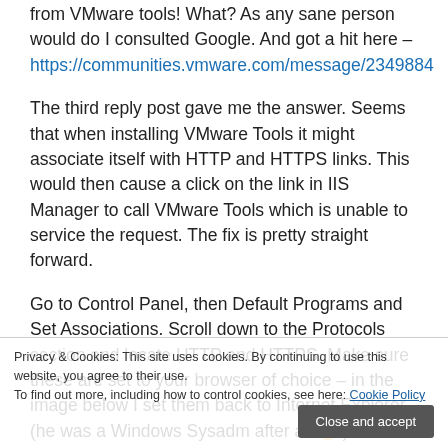from VMware tools! What? As any sane person would do I consulted Google. And got a hit here – https://communities.vmware.com/message/2349884
The third reply post gave me the answer. Seems that when installing VMware Tools it might associate itself with HTTP and HTTPS links. This would then cause a click on the link in IIS Manager to call VMware Tools which is unable to service the request. The fix is pretty straight forward.
Go to Control Panel, then Default Programs and Set Associations. Scroll down to the Protocols section and locate HTTP and HTTPS. Make sure these are set to your browser of choice – in the image below I set them back to Internet Explorer (he was a Windows Sysadm after all 😊). If the association is wrong it would be set to Default Host Application as shown for TELNET.
Privacy & Cookies: This site uses cookies. By continuing to use this website, you agree to their use. To find out more, including how to control cookies, see here: Cookie Policy
Close and accept